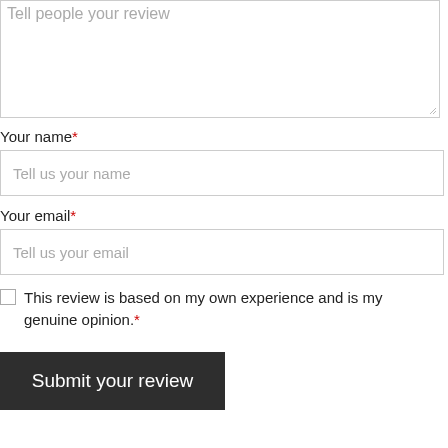Tell people your review
Your name*
Tell us your name
Your email*
Tell us your email
This review is based on my own experience and is my genuine opinion.*
Submit your review